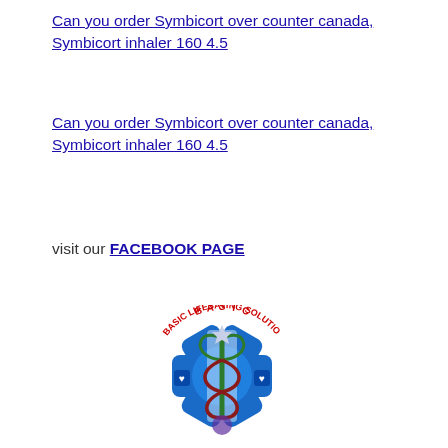Can you order Symbicort over counter canada, Symbicort inhaler 160 4.5
Can you order Symbicort over counter canada, Symbicort inhaler 160 4.5
visit our FACEBOOK PAGE
[Figure (logo): Basic Lifesaving Solutions circular logo with star of life symbol (blue), caduceus (green serpent staff), and red circular text reading 'BASIC LIFESAVING SOLUTIONS']